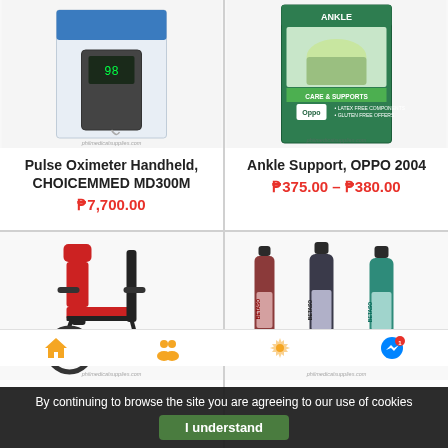[Figure (photo): Product photo of Pulse Oximeter Handheld CHOICEMMED MD300M with packaging box, showing a handheld pulse oximeter device with probe cable]
Pulse Oximeter Handheld, CHOICEMMED MD300M
₱7,700.00
[Figure (photo): Product photo of Ankle Support OPPO 2004 box packaging showing a green box with ankle/foot imagery and OPPO branding]
Ankle Support, OPPO 2004
₱375.00 – ₱380.00
[Figure (photo): Product photo of a red and black reclining wheelchair with headrest and footrests]
[Figure (photo): Product photo of three bottles of Betaso solution in red, dark blue/gray, and green colors with labels]
By continuing to browse the site you are agreeing to our use of cookies
I understand